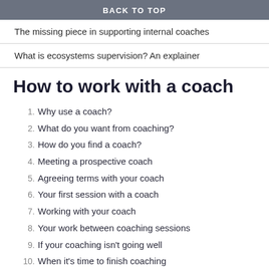BACK TO TOP
The missing piece in supporting internal coaches
What is ecosystems supervision? An explainer
How to work with a coach
1. Why use a coach?
2. What do you want from coaching?
3. How do you find a coach?
4. Meeting a prospective coach
5. Agreeing terms with your coach
6. Your first session with a coach
7. Working with your coach
8. Your work between coaching sessions
9. If your coaching isn't going well
10. When it's time to finish coaching